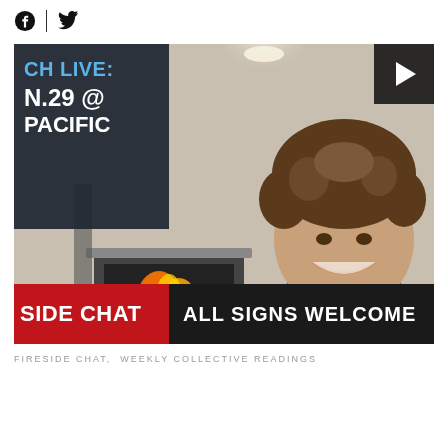[Figure (other): Social media icons: Facebook circle icon and Twitter bird icon separated by a vertical divider line]
[Figure (screenshot): Video thumbnail showing a smiling man with curly hair in a black t-shirt. Overlay text top-left on dark background reads 'CH LIVE: N.29 @ PACIFIC'. Play button top-right. Bottom bar: red section reading 'SIDE CHAT' and dark section reading 'ALL SIGNS WELCOME'. Background shows a room with a fireplace and wreath.]
FIRESIDE CHAT,  WEEKLY COLLECTIVE READINGS
...